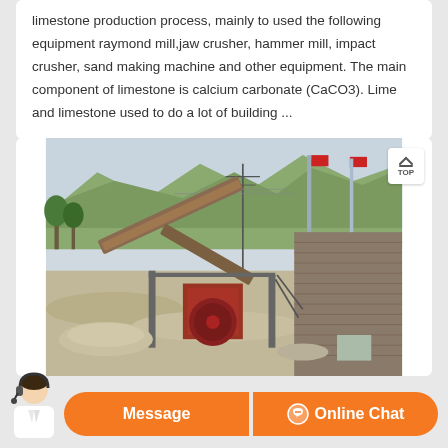limestone production process, mainly to used the following equipment raymond mill,jaw crusher, hammer mill, impact crusher, sand making machine and other equipment. The main component of limestone is calcium carbonate (CaCO3). Lime and limestone used to do a lot of building ...
[Figure (photo): Outdoor photograph of a limestone crushing and processing facility showing jaw crushers, conveyors, industrial equipment, a tall pole, red flags, brick building, and mountainous terrain in the background.]